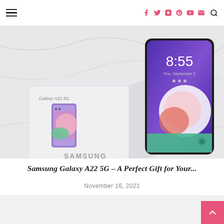Navigation bar with hamburger menu, social icons (Facebook, Twitter, Instagram, Pinterest, YouTube, Email), and search icon
[Figure (photo): Samsung Galaxy A22 5G smartphone standing upright next to its product box on a white marble surface. The phone shows a colorful lock screen with time 8:55. The white box features an image of the purple phone.]
Samsung Galaxy A22 5G – A Perfect Gift for Your...
November 16, 2021
[Figure (photo): Bottom partial image, light grey background, partially visible content]